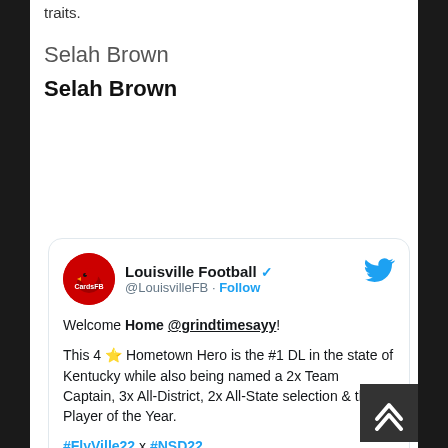traits.
Selah Brown
Selah Brown
[Figure (screenshot): Embedded tweet from @LouisvilleFB (Louisville Football, verified) with text: 'Welcome Home @grindtimesayy! This 4 ⭐ Hometown Hero is the #1 DL in the state of Kentucky while also being named a 2x Team Captain, 3x All-District, 2x All-State selection & the 6A Player of the Year. #FlyVille22 x #NSD22' with a video thumbnail showing Watch on Twitter button and play button over a red Cardinals image.]